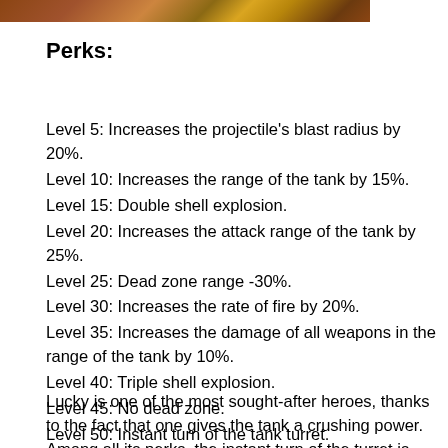[Figure (photo): Partial image of a game character or tank with brown and gold tones, cropped at top of page]
Perks:
Level 5: Increases the projectile's blast radius by 20%.
Level 10: Increases the range of the tank by 15%.
Level 15: Double shell explosion.
Level 20: Increases the attack range of the tank by 25%.
Level 25: Dead zone range -30%.
Level 30: Increases the rate of fire by 20%.
Level 35: Increases the damage of all weapons in the range of the tank by 10%.
Level 40: Triple shell explosion.
Level 45: No dead zone.
Level 50: Instant turn of the tank turret.
Lucky is one of the most sought-after heroes, thanks to the fact that one gives the tank a crushing power. Among all its perks, the instant turn of the turret is the most important. The rate of fire